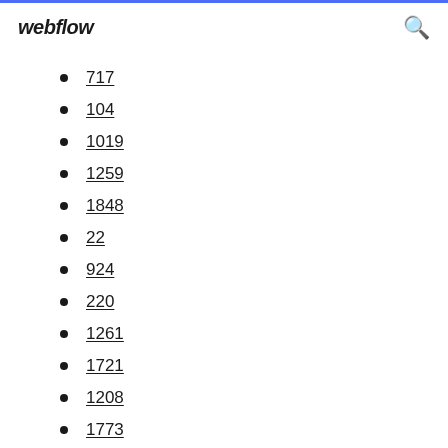webflow
717
104
1019
1259
1848
22
924
220
1261
1721
1208
1773